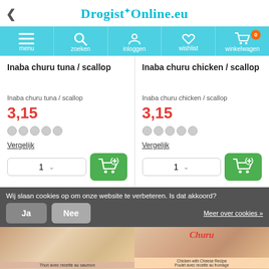DrogistOnline.eu
[Figure (screenshot): Navigation bar with icons: menu, zoeken (search), inloggen (login), wishlist, winkelwagen (shopping cart with badge showing 0)]
Inaba churu tuna / scallop
Inaba churu chicken / scallop
Inaba churu tuna / scallop
3,15
Vergelijk
Inaba churu chicken / scallop
3,15
Vergelijk
Wij slaan cookies op om onze website te verbeteren. Is dat akkoord?
Ja
Nee
Meer over cookies »
[Figure (photo): Product image of Inaba churu tuna/scallop cat treat package]
[Figure (photo): Product image of Inaba churu chicken/scallop cat treat package with Churu branding and text 'Chicken with Cheese Recipe / Poulet avec recette au fromage']